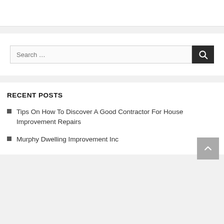[Figure (screenshot): White header area at top of webpage]
[Figure (screenshot): Search bar with text 'Search …' and dark search button with magnifying glass icon]
RECENT POSTS
Tips On How To Discover A Good Contractor For House Improvement Repairs
Murphy Dwelling Improvement Inc